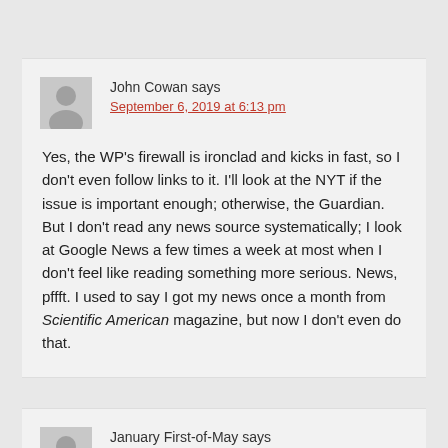John Cowan says
September 6, 2019 at 6:13 pm
Yes, the WP's firewall is ironclad and kicks in fast, so I don't even follow links to it. I'll look at the NYT if the issue is important enough; otherwise, the Guardian. But I don't read any news source systematically; I look at Google News a few times a week at most when I don't feel like reading something more serious. News, pffft. I used to say I got my news once a month from Scientific American magazine, but now I don't even do that.
January First-of-May says
September 6, 2019 at 6:15 pm